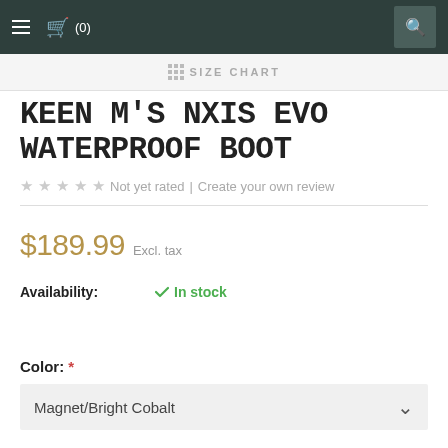≡  🛒 (0)   🔍
SIZE CHART
KEEN M'S NXIS EVO WATERPROOF BOOT
★ ★ ★ ★ ★  Not yet rated | Create your own review
$189.99  Excl. tax
Availability:  ✔ In stock
Color: *
Magnet/Bright Cobalt